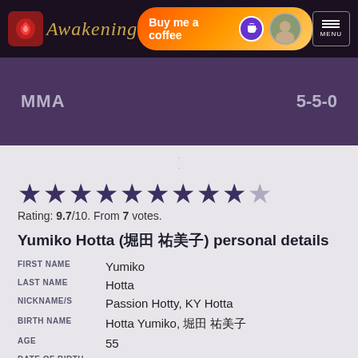Awakening — Buy me a coffee — MENU
MMA  5-5-0
[Figure (other): Star rating display: 9 full purple stars and partial star. Rating: 9.7/10. From 7 votes.]
Yumiko Hotta (堀田 祐美子) personal details
| FIRST NAME | Yumiko |
| LAST NAME | Hotta |
| NICKNAME/S | Passion Hotty, KY Hotta |
| BIRTH NAME | Hotta Yumiko, 堀田 祐美子 |
| AGE | 55 |
| DATE OF BIRTH | January 10, 1967 |
| BORN | Kobe, Hyōgo, Japan |